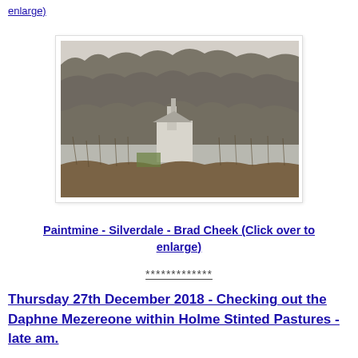enlarge)
[Figure (photo): Photograph of Paintmine, Silverdale, taken by Brad Cheek. Shows a stone building with chimney nestled among bare winter trees on a hillside, with dried reeds/vegetation in the foreground.]
Paintmine - Silverdale - Brad Cheek (Click over to enlarge)
*************
Thursday 27th December 2018 - Checking out the Daphne Mezereone within Holme Stinted Pastures - late am.